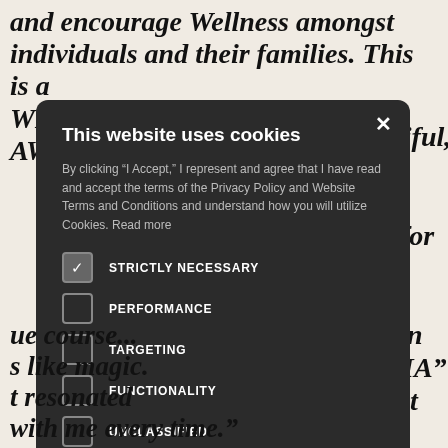and encourage Wellness amongst individuals and their families. This is a WHOLE person(s) model. AWESOME JOB TO beautiful, course. This nant for all cal) human y "AHA" lement
[Figure (screenshot): Cookie consent modal dialog with dark background showing 'This website uses cookies' title, body text about Privacy Policy, checkboxes for STRICTLY NECESSARY (checked), PERFORMANCE, TARGETING, FUNCTIONALITY, UNCLASSIFIED, and two buttons: 'I ACCEPT' (green) and 'DECLINE ALL' (outlined)]
ue course... s like magic. t resonated with me every time."